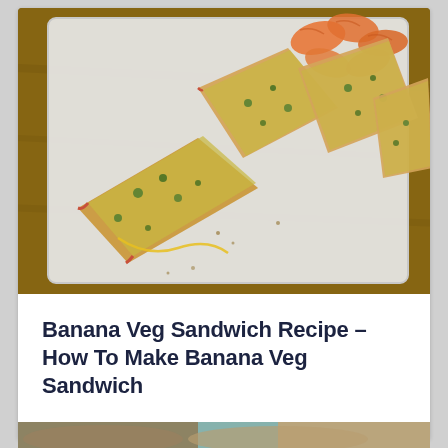[Figure (photo): Close-up photo of toasted open-faced sandwiches with cheesy vegetable topping on a white cutting board, with orange chips/crisps in the background, on a wooden table.]
Banana Veg Sandwich Recipe – How To Make Banana Veg Sandwich
[Figure (photo): Partial photo of bread/sandwich items, partially visible at the bottom of the page.]